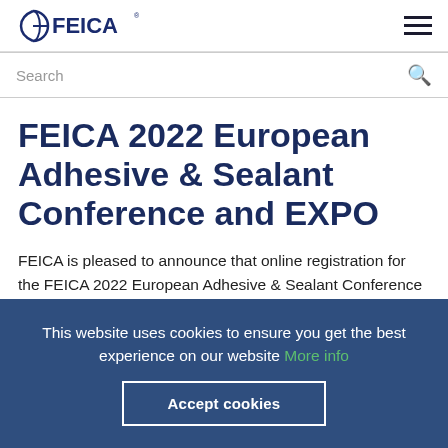FEICA [logo] [hamburger menu]
Search
FEICA 2022 European Adhesive & Sealant Conference and EXPO
FEICA is pleased to announce that online registration for the FEICA 2022 European Adhesive & Sealant Conference and EXPO is now OPEN. This year's event is set at the Grand Élysée Hotel in Hamburg, Germany from 14-16...
This website uses cookies to ensure you get the best experience on our website More info
Accept cookies